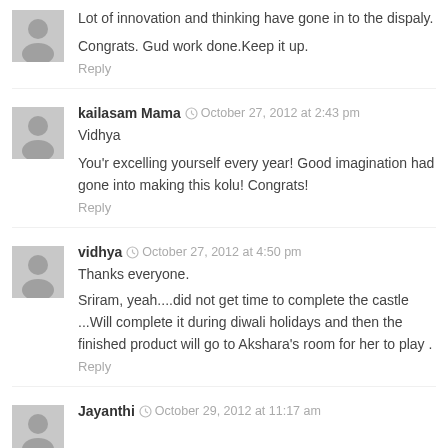[Figure (illustration): Gray placeholder avatar icon]
Lot of innovation and thinking have gone in to the dispaly.

Congrats. Gud work done.Keep it up.
Reply
[Figure (illustration): Gray placeholder avatar icon]
kailasam Mama  October 27, 2012 at 2:43 pm
Vidhya

You'r excelling yourself every year! Good imagination had gone into making this kolu! Congrats!
Reply
[Figure (illustration): Gray placeholder avatar icon]
vidhya  October 27, 2012 at 4:50 pm
Thanks everyone.
Sriram, yeah....did not get time to complete the castle ...Will complete it during diwali holidays and then the finished product will go to Akshara's room for her to play .
Reply
[Figure (illustration): Gray placeholder avatar icon]
Jayanthi  October 29, 2012 at 11:17 am